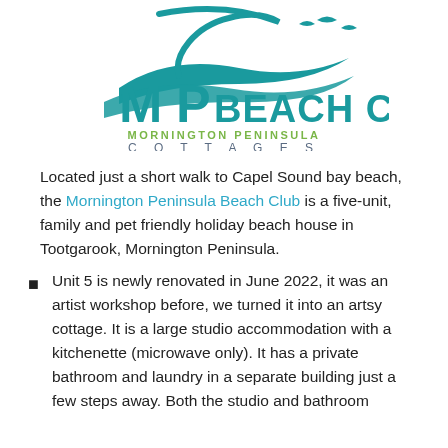[Figure (logo): MP Beach Club logo with teal wave and bird design, company name and tagline]
Located just a short walk to Capel Sound bay beach, the Mornington Peninsula Beach Club is a five-unit, family and pet friendly holiday beach house in Tootgarook, Mornington Peninsula.
Unit 5 is newly renovated in June 2022, it was an artist workshop before, we turned it into an artsy cottage. It is a large studio accommodation with a kitchenette (microwave only). It has a private bathroom and laundry in a separate building just a few steps away. Both the studio and bathroom